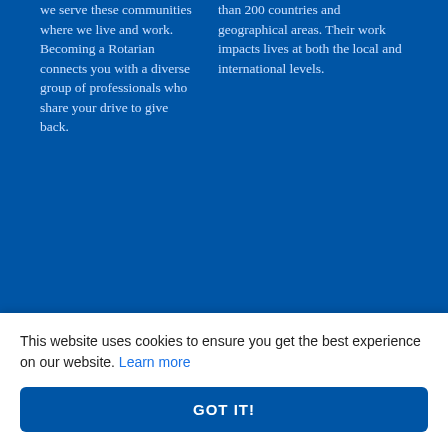we serve these communities where we live and work. Becoming a Rotarian connects you with a diverse group of professionals who share your drive to give back.
than 200 countries and geographical areas. Their work impacts lives at both the local and international levels.
[Figure (logo): Rotary International gear wheel logo in gold/yellow]
All materials and photos, unless otherwise specified, copyright of District 9910
This website uses cookies to ensure you get the best experience on our website. Learn more
GOT IT!